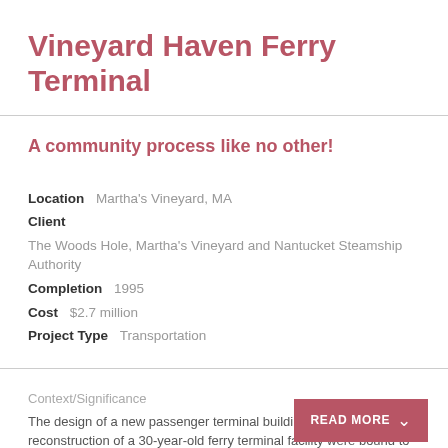Vineyard Haven Ferry Terminal
A community process like no other!
Location   Martha's Vineyard, MA
Client
The Woods Hole, Martha's Vineyard and Nantucket Steamship Authority
Completion   1995
Cost   $2.7 million
Project Type   Transportation
Context/Significance
The design of a new passenger terminal building and the reconstruction of a 30-year-old ferry terminal facility were bound to